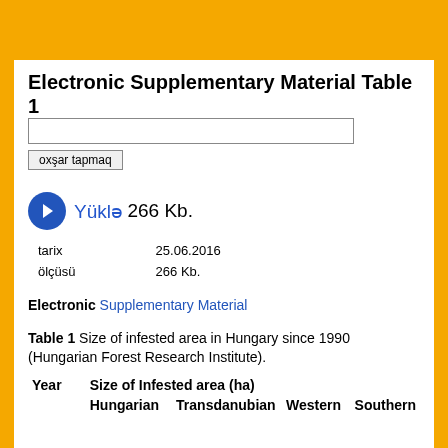Electronic Supplementary Material Table 1
[Figure (other): Search input box and button labeled 'oxşar tapmaq']
Yüklə 266 Kb.
| tarix | 25.06.2016 | ölçüsü | 266 Kb. |
| --- | --- | --- | --- |
| tarix | 25.06.2016 |
| ölçüsü | 266 Kb. |
Electronic Supplementary Material
Table 1 Size of infested area in Hungary since 1990 (Hungarian Forest Research Institute).
| Year | Size of Infested area (ha) |  |  |
| --- | --- | --- | --- |
|  | Hungarian | Transdanubian | Western | Southern |